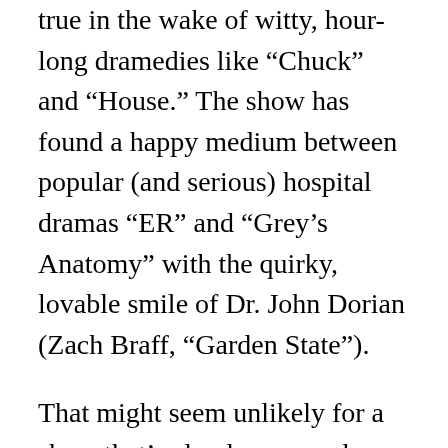true in the wake of witty, hour-long dramedies like “Chuck” and “House.” The show has found a happy medium between popular (and serious) hospital dramas “ER” and “Grey’s Anatomy” with the quirky, lovable smile of Dr. John Dorian (Zach Braff, “Garden State”).
That might seem unlikely for a show that’s clearly a comedy, but this is in no way a typical sitcom. Even with an extensive cast of essential characters – JD, Turk, Dr. Cox, Kelso, Elliot, Carla, Ted and high-fiving womanizer The Tod – the show’s players are developed more deeply than those on any other sitcom on television. Where most are relatively